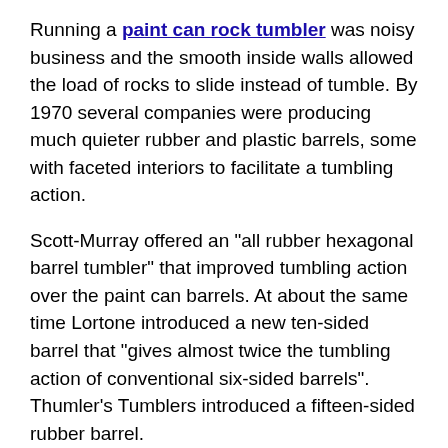Running a paint can rock tumbler was noisy business and the smooth inside walls allowed the load of rocks to slide instead of tumble. By 1970 several companies were producing much quieter rubber and plastic barrels, some with faceted interiors to facilitate a tumbling action.
Scott-Murray offered an "all rubber hexagonal barrel tumbler" that improved tumbling action over the paint can barrels. At about the same time Lortone introduced a new ten-sided barrel that "gives almost twice the tumbling action of conventional six-sided barrels". Thumler's Tumblers introduced a fifteen-sided rubber barrel.
The multi-sided rubber tumbler barrel was a significant improvement over the paint can. The companies willing to invest in producing these superior tumbler barrels distinguished themselves in the market place. Noise and leaking barrels were the primary complaint of people who lived in a house with an operating rock tumbler. Rubber tumbler barrels solved these problems - or at least reduced them